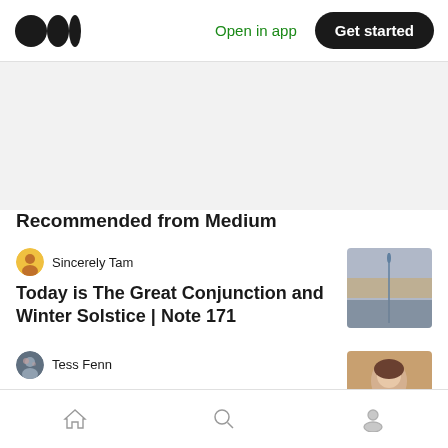Medium logo | Open in app | Get started
Recommended from Medium
Sincerely Tam — Today is The Great Conjunction and Winter Solstice | Note 171
Tess Fenn — Nomadic Reflections: what I learned through 30
Home | Search | Profile